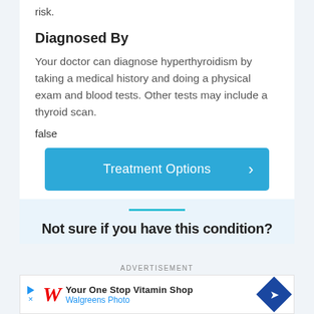risk.
Diagnosed By
Your doctor can diagnose hyperthyroidism by taking a medical history and doing a physical exam and blood tests. Other tests may include a thyroid scan.
false
[Figure (other): Blue button labeled 'Treatment Options' with right-pointing chevron arrow]
[Figure (infographic): Light blue section with teal horizontal line and partially visible bold text 'Not sure if you have this condition?']
ADVERTISEMENT
[Figure (other): Walgreens advertisement banner: 'Your One Stop Vitamin Shop / Walgreens Photo' with red cursive W logo and blue diamond arrow icon]